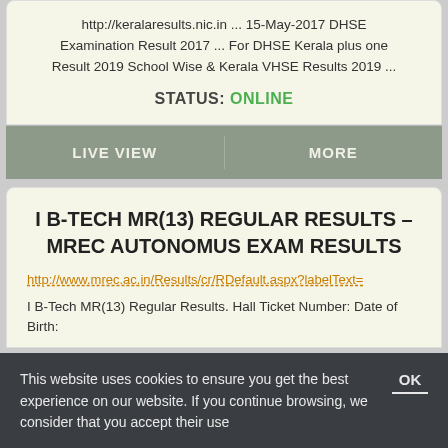http://keralaresults.nic.in ... 15-May-2017 DHSE Examination Result 2017 ... For DHSE Kerala plus one Result 2019 School Wise & Kerala VHSE Results 2019 ...
STATUS: ONLINE
LIVE VIEW
MORE
I B-TECH MR(13) REGULAR RESULTS – MREC AUTONOMUS EXAM RESULTS
http://www.mrec.ac.in/Results/cr/RDefault.aspx?labelText=
I B-Tech MR(13) Regular Results. Hall Ticket Number: Date of Birth:
This website uses cookies to ensure you get the best experience on our website. If you continue browsing, we consider that you accept their use